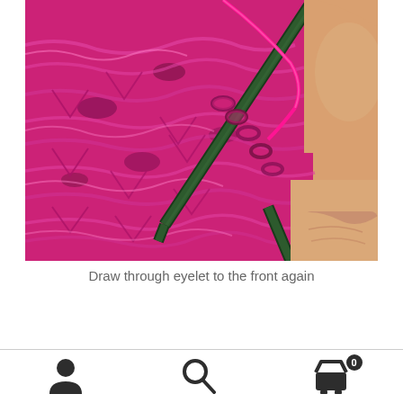[Figure (photo): Close-up photo of hands knitting with bright magenta/pink yarn on dark green knitting needles, showing the process of drawing yarn through an eyelet]
Draw through eyelet to the front again